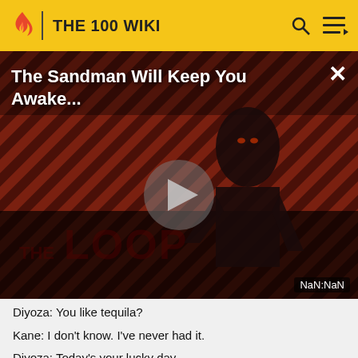THE 100 WIKI
[Figure (screenshot): Video player showing 'The Sandman Will Keep You Awake...' with a dark figure on a striped background, play button in center, THE LOOP watermark, and NaN:NaN time display]
Diyoza: You like tequila?
Kane: I don't know. I've never had it.
Diyoza: Today's your lucky day.
Kane: I wish you hadn't given Abby back those pills.